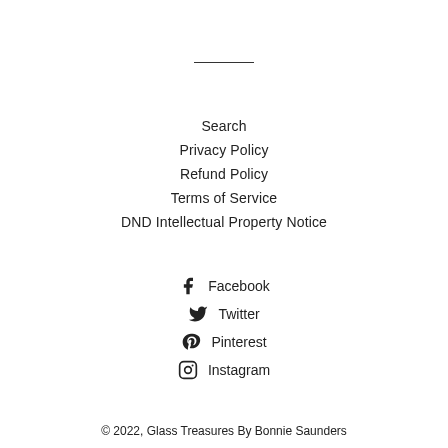Search
Privacy Policy
Refund Policy
Terms of Service
DND Intellectual Property Notice
Facebook
Twitter
Pinterest
Instagram
© 2022, Glass Treasures By Bonnie Saunders